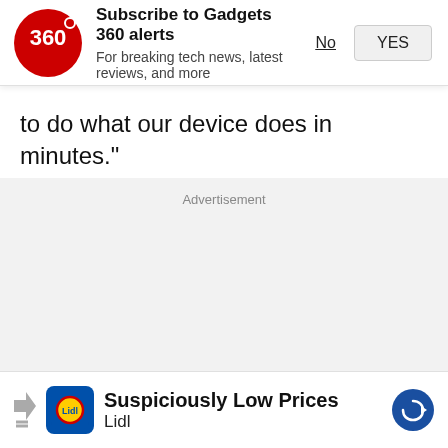[Figure (screenshot): Gadgets 360 subscription notification banner with red circular logo showing '360', bold title 'Subscribe to Gadgets 360 alerts', subtitle 'For breaking tech news, latest reviews, and more', and two buttons: 'No' (underlined) and 'YES' (button)]
to do what our device does in minutes."
Advertisement
[Figure (screenshot): Video popup showing a dark smartphone (Realme/OPPO style) with a red play button circle overlay, on a pinkish background. A red circle close button appears top-right.]
[Figure (screenshot): Bottom advertisement banner for Lidl: 'Suspiciously Low Prices' with Lidl logo (blue square with yellow star) and a blue circular arrow icon on the right. Left side shows forward/close icons.]